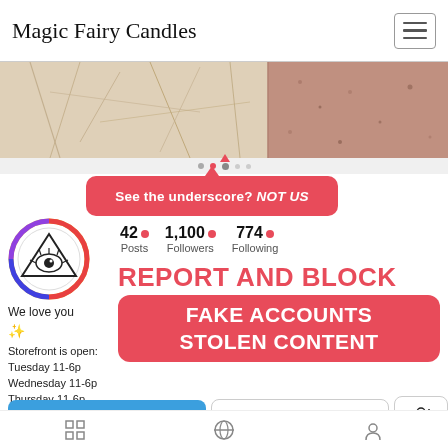Magic Fairy Candles
[Figure (screenshot): Instagram profile screenshot showing a fake account warning. Profile has 42 Posts, 1,100 Followers, 774 Following. Red callout says 'See the underscore? NOT US'. Large red text says 'REPORT AND BLOCK FAKE ACCOUNTS STOLEN CONTENT'. Bio says 'We love you, Storefront is open: Tuesday 11-6p, Wednesday 11-6p, Thursday 11-6p, Saturday 11-6p, Sunday 12-5p, magic fairy candles.com/you-are-loved/ 634'. Buttons: Follow back, Message, +person icon.]